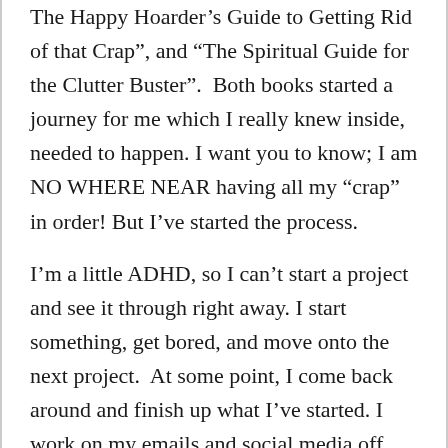The Happy Hoarder's Guide to Getting Rid of that Crap", and “The Spiritual Guide for the Clutter Buster”.  Both books started a journey for me which I really knew inside, needed to happen. I want you to know; I am NO WHERE NEAR having all my “crap” in order! But I’ve started the process.
I’m a little ADHD, so I can’t start a project and see it through right away. I start something, get bored, and move onto the next project.  At some point, I come back around and finish up what I’ve started. I work on my emails and social media off and on. Sometimes I will have pockets of time and will spend 15 or 20 minutes unsubscribing from email lists. I may take 20 or